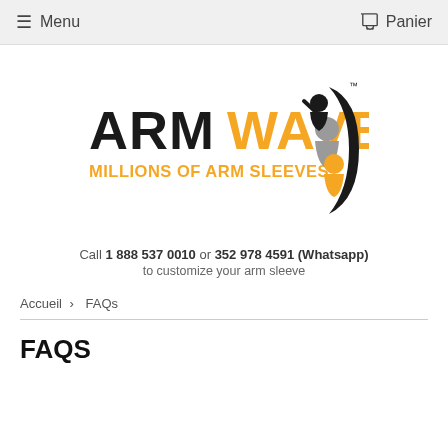Menu   Panier
[Figure (logo): Arm Wave logo — black bold text 'ARM', orange bold text 'WAVE', orange text 'MILLIONS OF ARM SLEEVES', with stylized figures graphic in black, grey, and orange on right side with TM mark]
Call 1 888 537 0010 or 352 978 4591 (Whatsapp) to customize your arm sleeve
Accueil › FAQs
FAQS